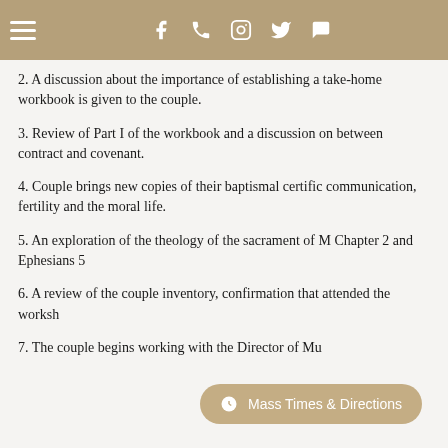Navigation header with hamburger menu and social icons: Facebook, Phone, Instagram, Twitter, Chat
2. A discussion about the importance of establishing a take-home workbook is given to the couple.
3. Review of Part I of the workbook and a discussion on between contract and covenant.
4. Couple brings new copies of their baptismal certificates communication, fertility and the moral life.
5. An exploration of the theology of the sacrament of Marriage Chapter 2 and Ephesians 5
6. A review of the couple inventory, confirmation that they attended the workshop
7. The couple begins working with the Director of Music
Mass Times & Directions